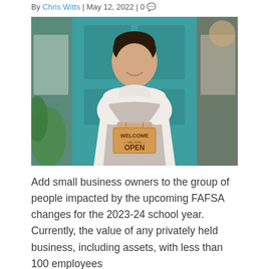By Chris Witts | May 12, 2022 | 0
[Figure (photo): A smiling Asian woman standing in front of a teal/turquoise painted door, wearing a white turtleneck and grey apron, holding a wooden 'WELCOME WE ARE OPEN' sign.]
Add small business owners to the group of people impacted by the upcoming FAFSA changes for the 2023-24 school year. Currently, the value of any privately held business, including assets, with less than 100 employees